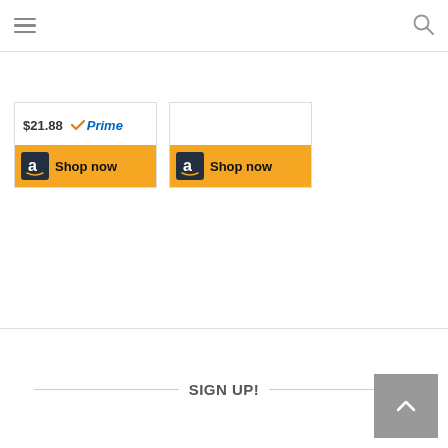Navigation bar with hamburger menu and search icon
[Figure (screenshot): Amazon product card showing price $21.88 with Prime badge and Shop now button]
[Figure (screenshot): Amazon product card with Shop now button (no price visible)]
SIGN UP!